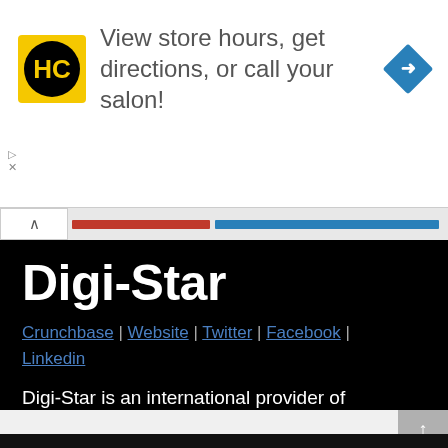[Figure (screenshot): Advertisement banner with HC logo (black circle with HC text on yellow background), text 'View store hours, get directions, or call your salon!' and a blue diamond navigation icon on the right. Has play and close controls on left side.]
Digi-Star
Crunchbase | Website | Twitter | Facebook | Linkedin
Digi-Star is an international provider of measuring solutions for optimizing agricultural performance.